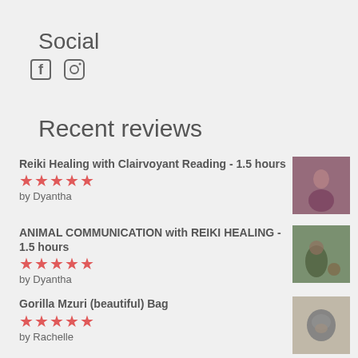Social
[Figure (other): Social media icons: Facebook and Instagram]
Recent reviews
Reiki Healing with Clairvoyant Reading - 1.5 hours
★★★★★
by Dyantha
[Figure (photo): Photo for Reiki Healing review]
ANIMAL COMMUNICATION with REIKI HEALING - 1.5 hours
★★★★★
by Dyantha
[Figure (photo): Photo for Animal Communication review]
Gorilla Mzuri (beautiful) Bag
★★★★★
by Rachelle
[Figure (photo): Photo of gorilla for Gorilla Mzuri bag review]
ANIMAL REIKI BOOSTER ~ 40 mins
★★★★★
by Anita Starre
[Figure (photo): Photo of black cat for Animal Reiki Booster review]